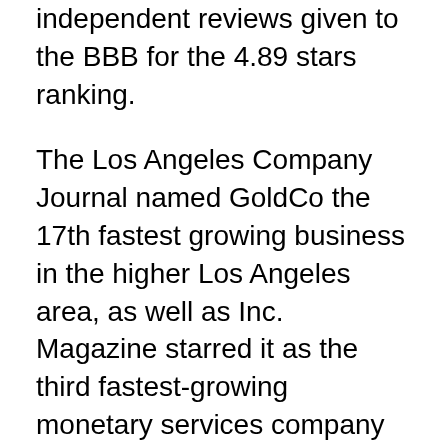independent reviews given to the BBB for the 4.89 stars ranking.
The Los Angeles Company Journal named GoldCo the 17th fastest growing business in the higher Los Angeles area, as well as Inc. Magazine starred it as the third fastest-growing monetary services company in the US in 2018. Consumer comments for GoldCo testimonial is pretty fantastic also, and also the precious metals individual retirement account specialists are credited for being friendly and exceptionally efficient. According to GoldCo testimonials, their whole individual retirement account rollover procedure is positive, smooth, and trigger.
GoldCo precious metals issue